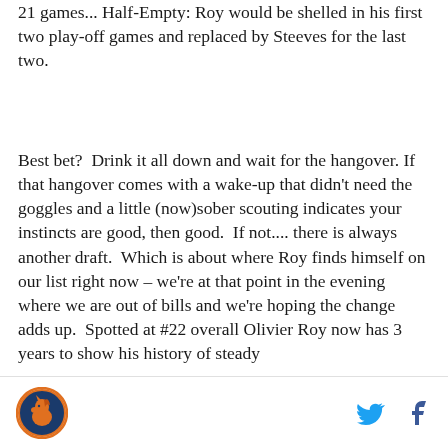21 games... Half-Empty: Roy would be shelled in his first two play-off games and replaced by Steeves for the last two.
Best bet?  Drink it all down and wait for the hangover. If that hangover comes with a wake-up that didn't need the goggles and a little (now)sober scouting indicates your instincts are good, then good.  If not.... there is always another draft.  Which is about where Roy finds himself on our list right now – we're at that point in the evening where we are out of bills and we're hoping the change adds up.  Spotted at #22 overall Olivier Roy now has 3 years to show his history of steady
Logo and social icons